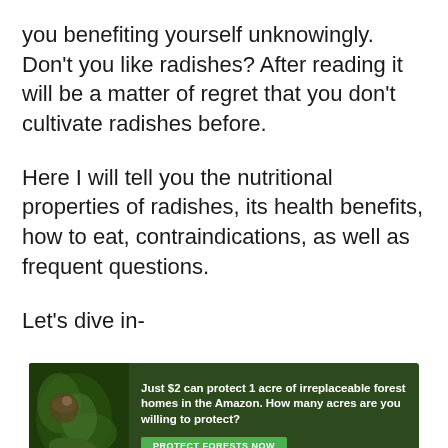you benefiting yourself unknowingly. Don't you like radishes? After reading it will be a matter of regret that you don't cultivate radishes before.
Here I will tell you the nutritional properties of radishes, its health benefits, how to eat, contraindications, as well as frequent questions.
Let's dive in-
[Figure (infographic): Advertisement banner for Amazon forest protection. Dark green background with foliage/animal imagery on the left. Text reads: 'Just $2 can protect 1 acre of irreplaceable forest homes in the Amazon. How many acres are you willing to protect?' with a green 'PROTECT FORESTS NOW' button.]